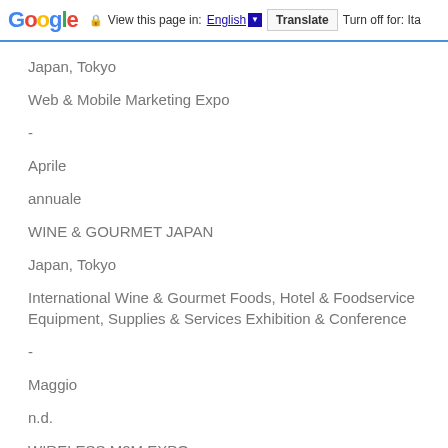Google  View this page in: English  Translate  Turn off for: Ita
Japan, Tokyo
Web & Mobile Marketing Expo
-
Aprile
annuale
WINE & GOURMET JAPAN
Japan, Tokyo
International Wine & Gourmet Foods, Hotel & Foodservice Equipment, Supplies & Services Exhibition & Conference
-
Maggio
n.d.
WIRELESS M2M EXPO